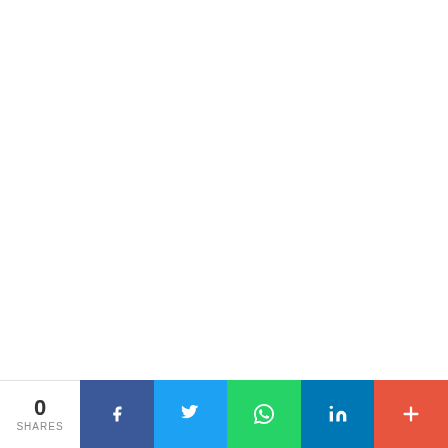We are recruiting suitably qualified candidates to fill the
[Figure (infographic): Social share bar with count 0 SHARES and buttons for Facebook, Twitter, WhatsApp, LinkedIn, and more (+)]